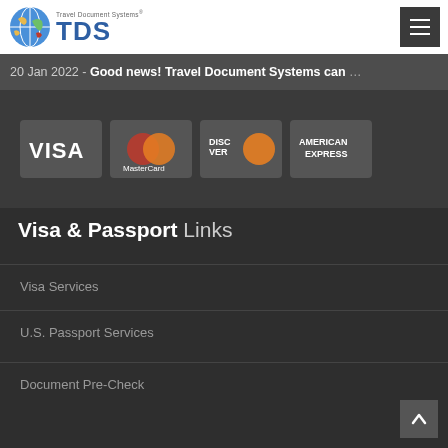Travel Document Systems® TDS
20 Jan 2022 - Good news! Travel Document Systems can …
[Figure (logo): Credit card logos: VISA, MasterCard, Discover, American Express on dark background]
Visa & Passport Links
Visa Services
U.S. Passport Services
Document Pre-Check